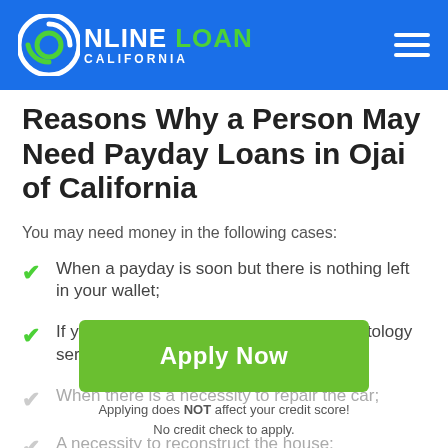ONLINE LOAN CALIFORNIA
Reasons Why a Person May Need Payday Loans in Ojai of California
You may need money in the following cases:
When a payday is soon but there is nothing left in your wallet;
If you need to pay for treatment or cosmetology services;
When there is a necessity to repair the car;
A necessity to reconstruct the house;
A need to purchase home electric appliances;
Apply Now
Applying does NOT affect your credit score!
No credit check to apply.